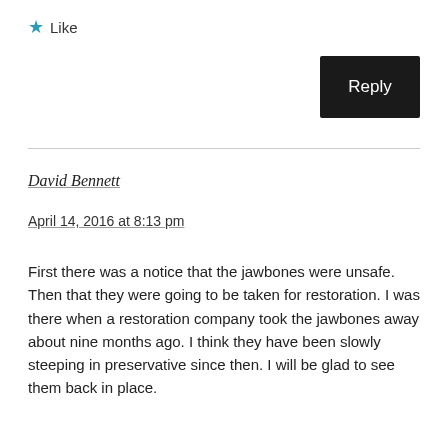★ Like
Reply
David Bennett
April 14, 2016 at 8:13 pm
First there was a notice that the jawbones were unsafe. Then that they were going to be taken for restoration. I was there when a restoration company took the jawbones away about nine months ago. I think they have been slowly steeping in preservative since then. I will be glad to see them back in place.